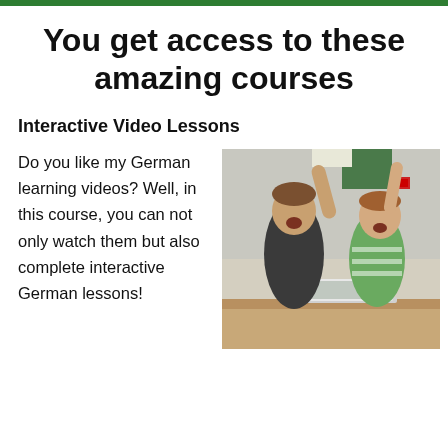You get access to these amazing courses
Interactive Video Lessons
Do you like my German learning videos? Well, in this course, you can not only watch them but also complete interactive German lessons!
[Figure (photo): Two excited children raising their arms in front of a laptop computer, celebrating]